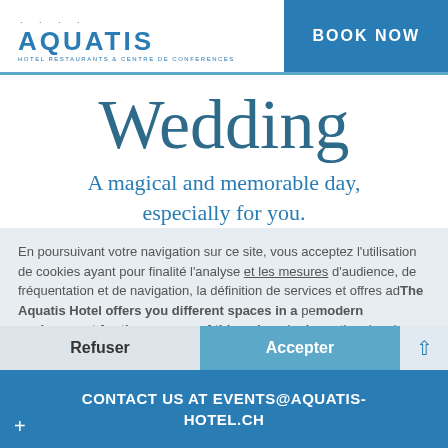AQUATIS HOTEL RESTAURANTS & CENTRE DE CONFERENCES | BOOK NOW
Wedding
A magical and memorable day, especially for you.
En poursuivant votre navigation sur ce site, vous acceptez l'utilisation de cookies ayant pour finalité l'analyse et les mesures d'audience, de fréquentation et de navigation, la définition de services et offres adaptés à vos centres d'intérêt, la personnalisation de contenus et la collecte de données personnelles liées à votre navigation depuis, des sites tiers.
The Aquatis Hotel offers you different spaces in a modern environment for the success of this unique day.
Informations
CONTACT US AT EVENTS@AQUATIS-HOTEL.CH